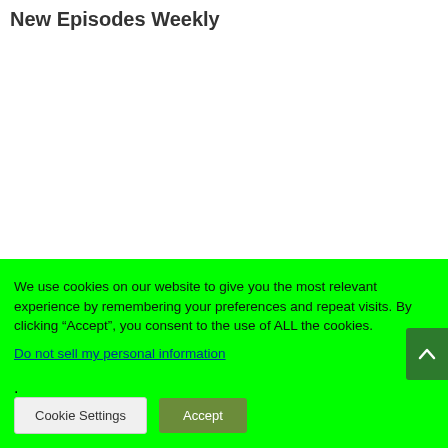New Episodes Weekly
We use cookies on our website to give you the most relevant experience by remembering your preferences and repeat visits. By clicking “Accept”, you consent to the use of ALL the cookies.
Do not sell my personal information.
Cookie Settings   Accept